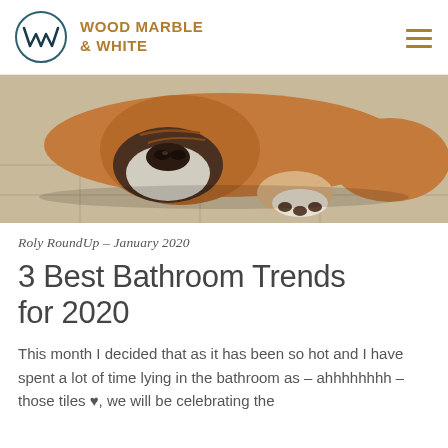WOOD MARBLE & WHITE
[Figure (photo): A bulldog lying flat on a light tile floor, face resting on the ground with paws stretched forward.]
Roly RoundUp – January 2020
3 Best Bathroom Trends for 2020
This month I decided that as it has been so hot and I have spent a lot of time lying in the bathroom as – ahhhhhhhh – those tiles ♥, we will be celebrating the